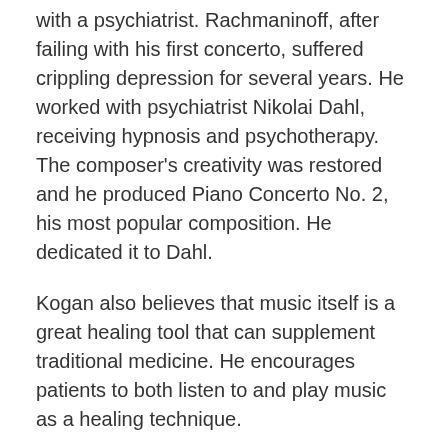with a psychiatrist. Rachmaninoff, after failing with his first concerto, suffered crippling depression for several years. He worked with psychiatrist Nikolai Dahl, receiving hypnosis and psychotherapy. The composer's creativity was restored and he produced Piano Concerto No. 2, his most popular composition. He dedicated it to Dahl.
Kogan also believes that music itself is a great healing tool that can supplement traditional medicine. He encourages patients to both listen to and play music as a healing technique.
When asked about what he hopes people will take away from his program, Kogan says, "I hope I can provide a window into the creative process."
To purchase tickets to "Music and the Mind," go to